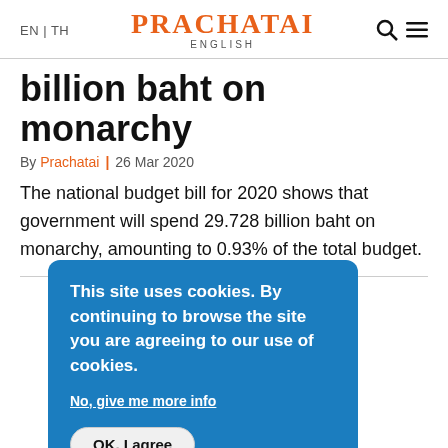EN | TH   PRACHATAI ENGLISH
billion baht on monarchy
By Prachatai | 26 Mar 2020
The national budget bill for 2020 shows that government will spend 29.728 billion baht on monarchy, amounting to 0.93% of the total budget.
This site uses cookies. By continuing to browse the site you are agreeing to our use of cookies.

No, give me more info

OK, I agree